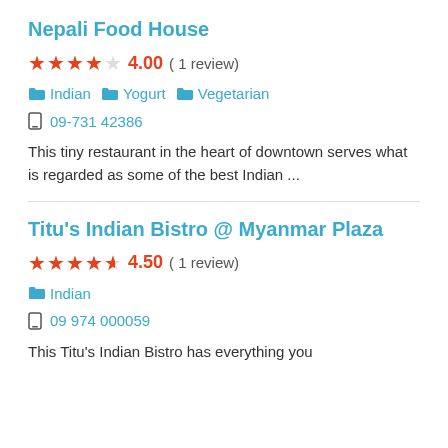Nepali Food House
★★★★☆ 4.00 ( 1 review)
Indian  Yogurt  Vegetarian
09-731 42386
This tiny restaurant in the heart of downtown serves what is regarded as some of the best Indian ...
Titu's Indian Bistro @ Myanmar Plaza
★★★★½ 4.50 ( 1 review)
Indian
09 974 000059
This Titu's Indian Bistro has everything you